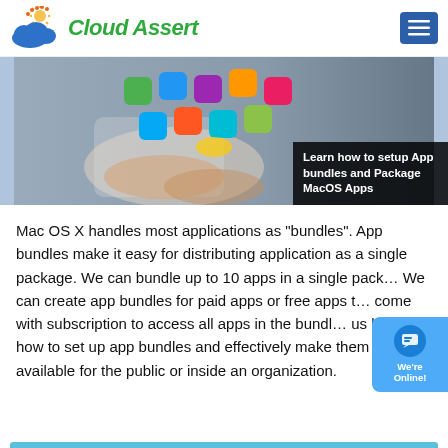Cloud Assert
[Figure (photo): Person touching a tablet screen with colorful app icons floating above, with overlay text: Learn how to setup App bundles and Package MacOS Apps]
Mac OS X handles most applications as "bundles". App bundles make it easy for distributing application as a single package. We can bundle up to 10 apps in a single package. We can create app bundles for paid apps or free apps that come with subscription to access all apps in the bundle. Let us learn how to set up app bundles and effectively make them available for the public or inside an organization.